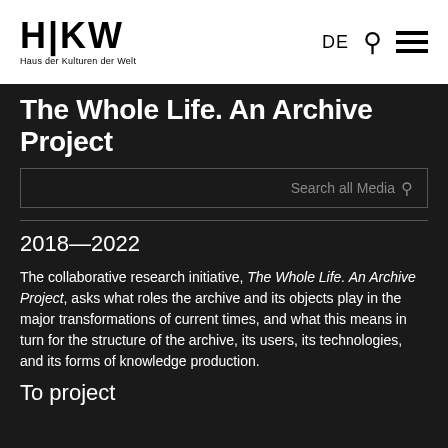HKW Haus der Kulturen der Welt — DE [search] [menu]
The Whole Life. An Archive Project
Search all Media
2018—2022
The collaborative research initiative, The Whole Life. An Archive Project, asks what roles the archive and its objects play in the major transformations of current times, and what this means in turn for the structure of the archive, its users, its technologies, and its forms of knowledge production.
To project